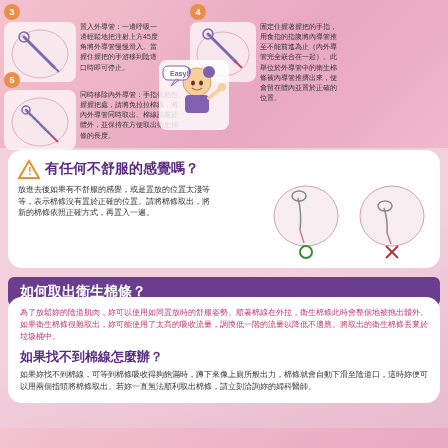[Figure (illustration): Steps 3 and 4 showing tampon insertion with applicator diagrams and Chinese instruction text]
[Figure (illustration): Step 5 showing removal of inner and outer applicator tubes with character saying Easy!]
[Figure (illustration): Warning section with correct (O) and incorrect (X) tampon placement diagrams]
有任何不舒服的感覺嗎？
放進去後如果有不舒服的感覺，或是置放的位置太淺等等，表示棉條沒有置於正確的位置。請將棉條取出，將新的棉條依照正確方式，再置入一遍。
如何取出衛生棉條？
為了放鬆妳的陰道肌肉，妳可以使用如同置放時的舒服姿勢。順著棉線在外拉，衛生棉條此時會整個地被拖出體外。如果衛生棉條很難取出，妳可能使用了太高的吸收流量，調換低一階的流量以降低不適應。將取出的衛生棉條丟棄於垃圾桶中。
如果找不到棉線怎麼辦？
如果妳找不到棉線，可等到棉條吸收得夠飽滿時，蹲下來像上廁所般出力，棉條就會自動下滑至陰道口，這時妳便可以用兩個指頭將棉條取出。若妳一直無法順利取出棉條，請立刻洽詢妳的婦科醫師。